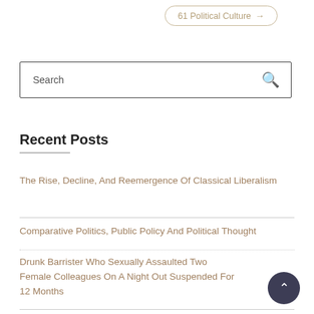61 Political Culture →
Search
Recent Posts
The Rise, Decline, And Reemergence Of Classical Liberalism
Comparative Politics, Public Policy And Political Thought
Drunk Barrister Who Sexually Assaulted Two Female Colleagues On A Night Out Suspended For 12 Months